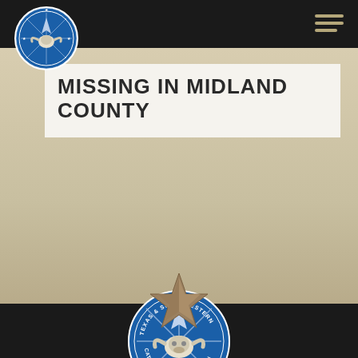Texas & Southwestern Cattle Raisers Association
MISSING IN MIDLAND COUNTY
[Figure (logo): Texas & Southwestern Cattle Raisers Association circular badge logo with longhorn skull and star, blue and white]
[Figure (illustration): Bronze/tan 3D star emblem, decorative divider]
[Figure (logo): Texas & Southwestern Cattle Raisers Association circular badge logo, larger, at bottom of page]